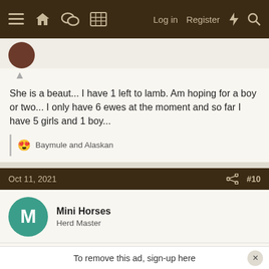Navigation bar with menu, home, chat, grid, Log in, Register, and search icons
She is a beaut... I have 1 left to lamb. Am hoping for a boy or two... I only have 6 ewes at the moment and so far I have 5 girls and 1 boy...
😍 Baymule and Alaskan
Oct 11, 2021  #10
Mini Horses
Herd Master
What lovely lambs!!! Makes me want some.... 😊 🙂 🙂
🌟🔵 Baymule and Zummorel
To remove this ad, sign-up here